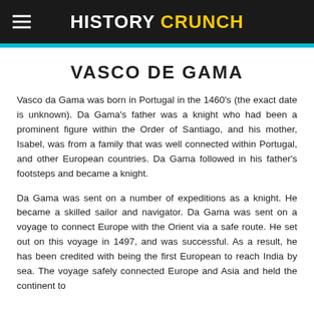HISTORY CRUNCH
VASCO DE GAMA
Vasco da Gama was born in Portugal in the 1460's (the exact date is unknown). Da Gama's father was a knight who had been a prominent figure within the Order of Santiago, and his mother, Isabel, was from a family that was well connected within Portugal, and other European countries. Da Gama followed in his father's footsteps and became a knight.
Da Gama was sent on a number of expeditions as a knight. He became a skilled sailor and navigator. Da Gama was sent on a voyage to connect Europe with the Orient via a safe route. He set out on this voyage in 1497, and was successful. As a result, he has been credited with being the first European to reach India by sea. The voyage safely connected Europe and Asia and held the continent to